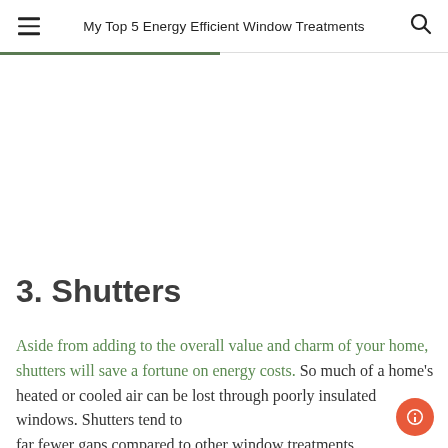My Top 5 Energy Efficient Window Treatments
3. Shutters
Aside from adding to the overall value and charm of your home, shutters will save a fortune on energy costs. So much of a home's heated or cooled air can be lost through poorly insulated windows. Shutters tend to far fewer gaps compared to other window treatments